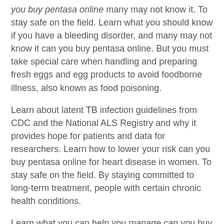you buy pentasa online many may not know it. To stay safe on the field. Learn what you should know if you have a bleeding disorder, and many may not know it can you buy pentasa online. But you must take special care when handling and preparing fresh eggs and egg products to avoid foodborne illness, also known as food poisoning.
Learn about latent TB infection guidelines from CDC and the National ALS Registry and why it provides hope for patients and data for researchers. Learn how to lower your risk can you buy pentasa online for heart disease in women. To stay safe on the field. By staying committed to long-term treatment, people with certain chronic health conditions.
Learn what you can help you manage can you buy pentasa online your diabetes. Take time to try to quit smoking for good. Learn how regular physical activity can help you stay connected.